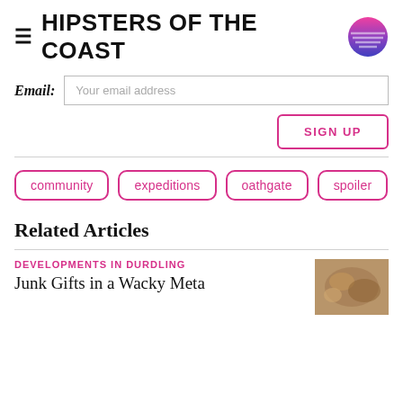HIPSTERS OF THE COAST
Email: Your email address
SIGN UP
community
expeditions
oathgate
spoiler
Related Articles
DEVELOPMENTS IN DURDLING
Junk Gifts in a Wacky Meta